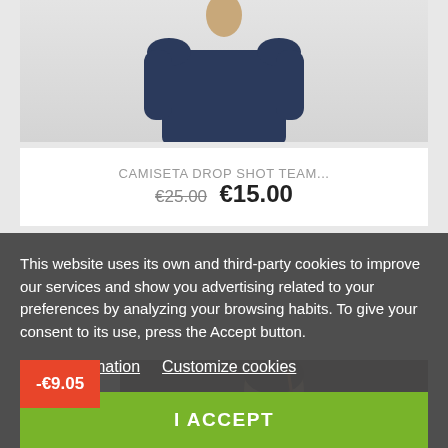[Figure (photo): Product photo showing a navy blue t-shirt on a model, top portion visible against light gray background]
CAMISETA DROP SHOT TEAM...
€25.00 €15.00
[Figure (photo): Partial product card showing a -€9.05 discount badge in red-orange and a photo of a woman model against dark brown background]
This website uses its own and third-party cookies to improve our services and show you advertising related to your preferences by analyzing your browsing habits. To give your consent to its use, press the Accept button.
More information   Customize cookies
I ACCEPT